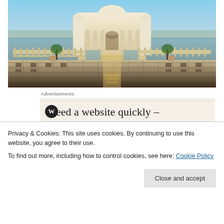[Figure (photo): Panoramic photo of a white marble temple/palace building with domed architecture, reflecting pool, ornate columns, and decorative tiled courtyard in the foreground under a blue sky]
Advertisements
Need a website quickly – and on a budget?
Privacy & Cookies: This site uses cookies. By continuing to use this website, you agree to their use.
To find out more, including how to control cookies, see here: Cookie Policy
Close and accept